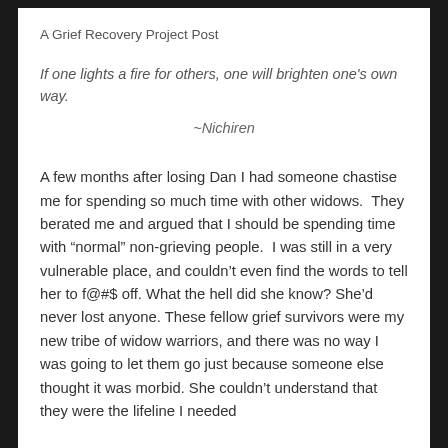A Grief Recovery Project Post
If one lights a fire for others, one will brighten one's own way.
~Nichiren
A few months after losing Dan I had someone chastise me for spending so much time with other widows.  They berated me and argued that I should be spending time with “normal” non-grieving people.  I was still in a very vulnerable place, and couldn’t even find the words to tell her to f@#$ off. What the hell did she know? She’d never lost anyone. These fellow grief survivors were my new tribe of widow warriors, and there was no way I was going to let them go just because someone else thought it was morbid. She couldn’t understand that they were the lifeline I needed